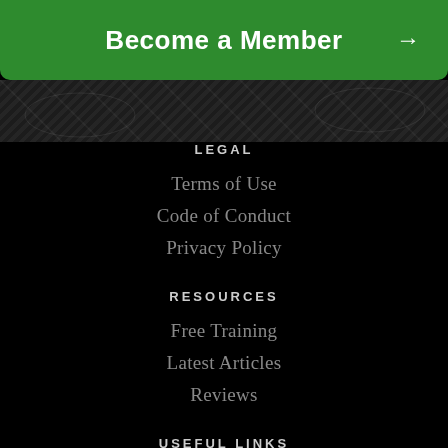Become a Member →
[Figure (photo): Dark decorative banner with diagonal hatching pattern, resembling a textured dark surface]
LEGAL
Terms of Use
Code of Conduct
Privacy Policy
RESOURCES
Free Training
Latest Articles
Reviews
USEFUL LINKS
Login
Contact
Become a Member